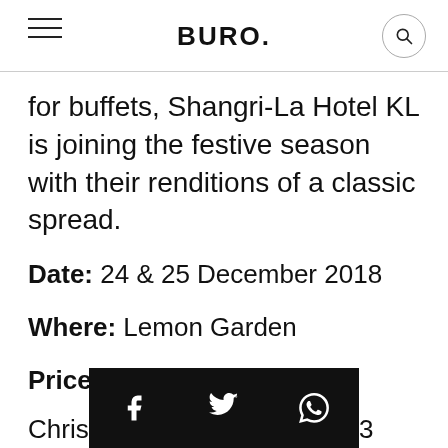BURO.
for buffets, Shangri-La Hotel KL is joining the festive season with their renditions of a classic spread.
Date: 24 & 25 December 2018
Where: Lemon Garden
Price:
Christmas Eve Lunch: RM193 nett per pax | R